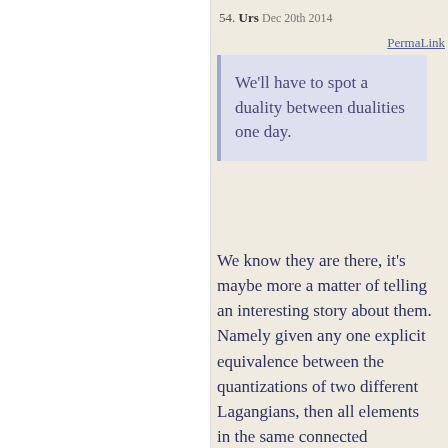54. Urs  Dec 20th 2014
PermaLink
We'll have to spot a duality between dualities one day.
We know they are there, it's maybe more a matter of telling an interesting story about them. Namely given any one explicit equivalence between the quantizations of two different Lagangians, then all elements in the same connected component of its hom-space will be dual dualities.
I expect that if one